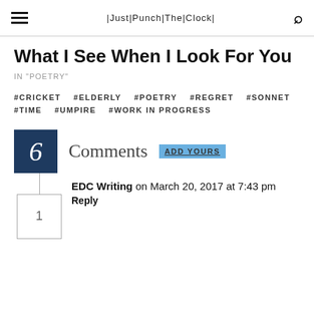|Just|Punch|The|Clock|
What I See When I Look For You
IN "POETRY"
#CRICKET   #ELDERLY   #POETRY   #REGRET   #SONNET   #TIME   #UMPIRE   #WORK IN PROGRESS
6 Comments ADD YOURS
1 EDC Writing on March 20, 2017 at 7:43 pm Reply